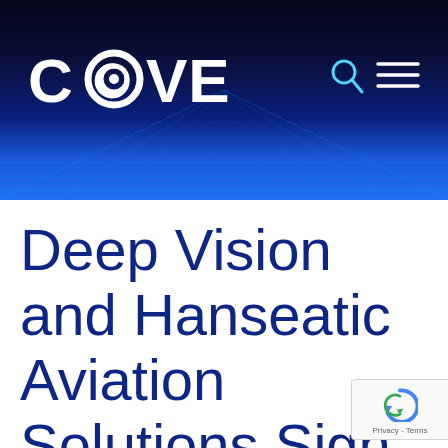[Figure (screenshot): COVE website header banner with dark navy-to-blue gradient background and perspective grid lines. White COVE logo on the left with a spiral 'O'. Search and hamburger menu icons on the right in cyan/white.]
Deep Vision and Hanseatic Aviation Solutions Sign